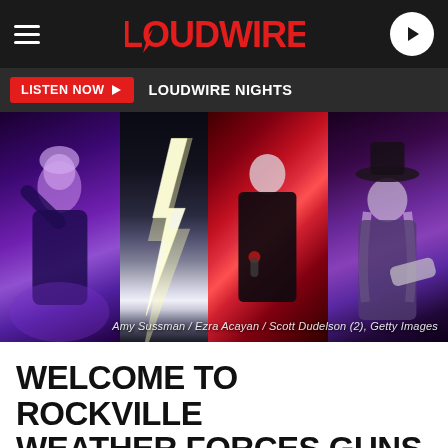LOUDWIRE
LISTEN NOW  LOUDWIRE NIGHTS
[Figure (photo): Four-panel photo collage: left panel shows a rock performer in purple lighting, second panel shows lightning bolt photograph, third panel shows a male singer in black on red background, fourth panel shows a guitarist in black hat with purple lighting. Credit: Amy Sussman / Ezra Acayan / Scott Dudelson (2), Getty Images]
Amy Sussman / Ezra Acayan / Scott Dudelson (2), Getty Images
WELCOME TO ROCKVILLE WEATHER FORCES GUNS N'